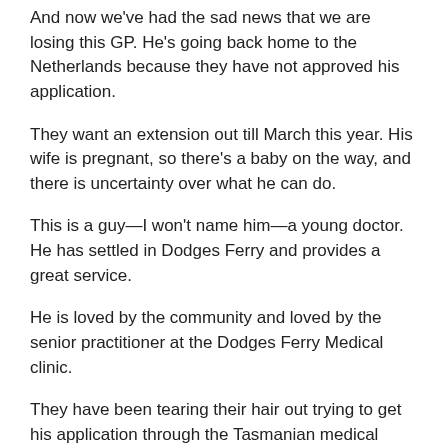And now we've had the sad news that we are losing this GP. He's going back home to the Netherlands because they have not approved his application.
They want an extension out till March this year. His wife is pregnant, so there's a baby on the way, and there is uncertainty over what he can do.
This is a guy—I won't name him—a young doctor. He has settled in Dodges Ferry and provides a great service.
He is loved by the community and loved by the senior practitioner at the Dodges Ferry Medical clinic.
They have been tearing their hair out trying to get his application through the Tasmanian medical board.